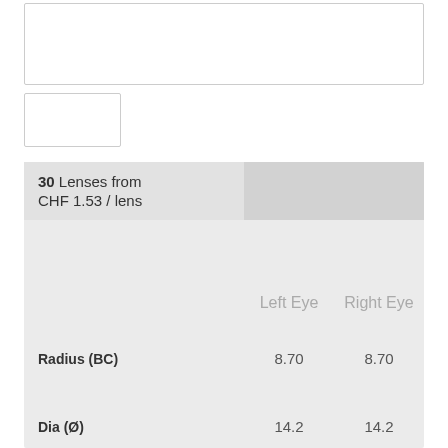[Figure (other): Empty white box with border at top of page]
[Figure (other): Small empty white box with border]
30 Lenses from CHF 1.53 / lens
|  | Left Eye | Right Eye |
| --- | --- | --- |
| Radius (BC) | 8.70 | 8.70 |
| Dia (Ø) | 14.2 | 14.2 |
| Power (Sph / PWR) |  |  |
Save with our bulk-order discounts